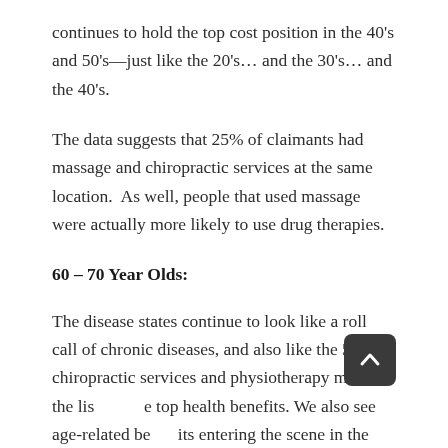continues to hold the top cost position in the 40's and 50's—just like the 20's... and the 30's... and the 40's.
The data suggests that 25% of claimants had massage and chiropractic services at the same location.  As well, people that used massage were actually more likely to use drug therapies.
60 – 70 Year Olds:
The disease states continue to look like a roll call of chronic diseases, and also like the 50's, chiropractic services and physiotherapy make the list of the top health benefits. We also see age-related benefits entering the scene in the 60's and 70's; like homo